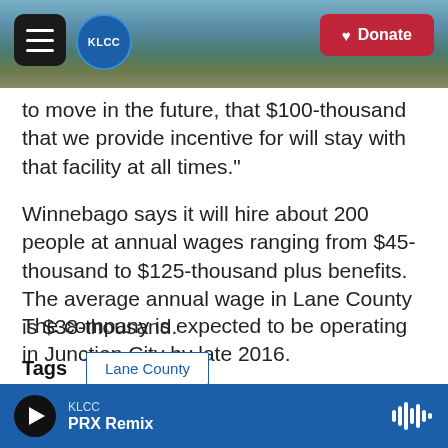KLCC | Donate
to move in the future, that $100-thousand that we provide incentive for will stay with that facility at all times."
Winnebago says it will hire about 200 people at annual wages ranging from $45-thousand to $125-thousand plus benefits. The average annual wage in Lane County is $38-thousand.
The company is expected to be operating in Junction City by late 2016.
Tags
Lane County
Lane County Commissioner Sid Leiken
KLCC PRX Remix